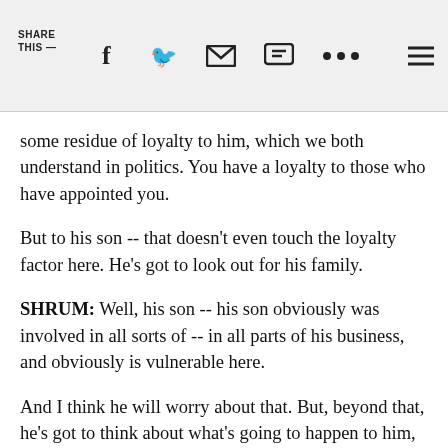SHARE THIS —  [social share icons]
some residue of loyalty to him, which we both understand in politics. You have a loyalty to those who have appointed you.
But to his son -- that doesn't even touch the loyalty factor here. He's got to look out for his family.
SHRUM: Well, his son -- his son obviously was involved in all sorts of -- in all parts of his business, and obviously is vulnerable here.
And I think he will worry about that. But, beyond that, he's got to think about what's going to happen to him, to what's left of his reputation. And my guess is that maybe he's hoping that, if things go badly, Trump will give him a pardon.